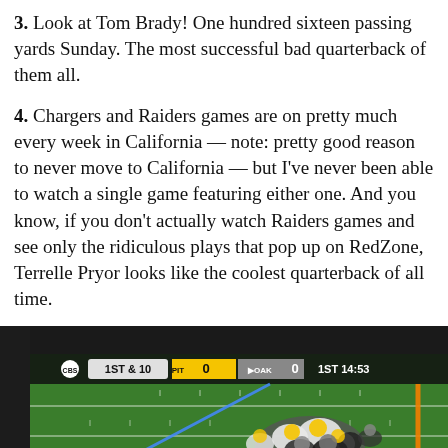3. Look at Tom Brady! One hundred sixteen passing yards Sunday. The most successful bad quarterback of them all.
4. Chargers and Raiders games are on pretty much every week in California — note: pretty good reason to never move to California — but I've never been able to watch a single game featuring either one. And you know, if you don't actually watch Raiders games and see only the ridiculous plays that pop up on RedZone, Terrelle Pryor looks like the coolest quarterback of all time.
[Figure (photo): Aerial broadcast view of a football game between Pittsburgh (PIT) and Oakland (OAK), scoreboard showing 1st & 10, PIT 0, OAK 0, 1st quarter 14:53. Players are clustered at line of scrimmage on a green field with white yard lines, a blue diagonal line, and an orange vertical line on the right side.]